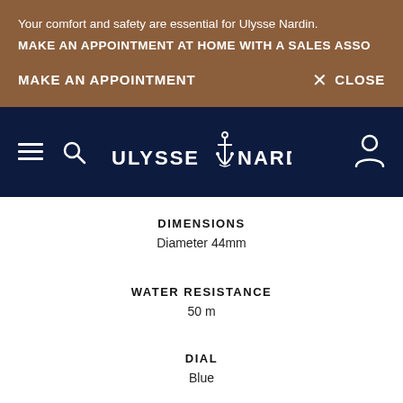Your comfort and safety are essential for Ulysse Nardin. MAKE AN APPOINTMENT AT HOME WITH A SALES ASSO...
MAKE AN APPOINTMENT
× CLOSE
[Figure (logo): Ulysse Nardin logo with anchor on dark navy navigation bar with hamburger menu, search icon, and user icon]
DIMENSIONS
Diameter 44mm
WATER RESISTANCE
50 m
DIAL
Blue
COMPLICATION